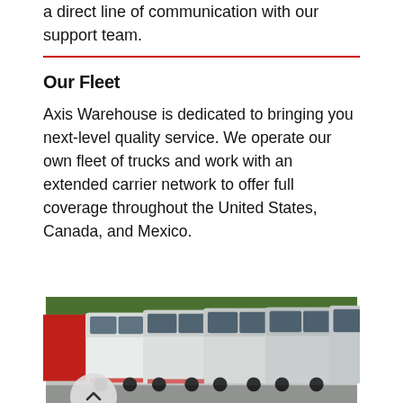a direct line of communication with our support team.
Our Fleet
Axis Warehouse is dedicated to bringing you next-level quality service. We operate our own fleet of trucks and work with an extended carrier network to offer full coverage throughout the United States, Canada, and Mexico.
[Figure (photo): A fleet of white semi-trucks parked in a row, photographed from a low angle showing the front cabs with trees in the background. A scroll-up arrow button overlays the bottom-left of the image.]